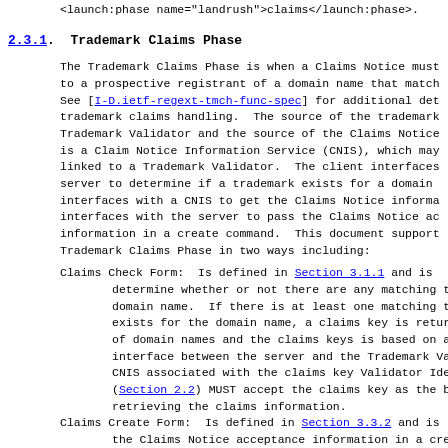<launch:phase name="landrush">claims</launch:phase>.
2.3.1.  Trademark Claims Phase
The Trademark Claims Phase is when a Claims Notice must to a prospective registrant of a domain name that match See [I-D.ietf-regext-tmch-func-spec] for additional det trademark claims handling.  The source of the trademark Trademark Validator and the source of the Claims Notice is a Claim Notice Information Service (CNIS), which may linked to a Trademark Validator.  The client interfaces server to determine if a trademark exists for a domain interfaces with a CNIS to get the Claims Notice informa interfaces with the server to pass the Claims Notice ac information in a create command.  This document support Trademark Claims Phase in two ways including:
Claims Check Form:  Is defined in Section 3.1.1 and is determine whether or not there are any matching trad domain name.  If there is at least one matching trad exists for the domain name, a claims key is returned of domain names and the claims keys is based on an o interface between the server and the Trademark Valid CNIS associated with the claims key Validator Identi (Section 2.2) MUST accept the claims key as the basi retrieving the claims information.
Claims Create Form:  Is defined in Section 3.3.2 and is the Claims Notice acceptance information in a create notice identifier (<launch:noticeID>) format, valida and server processing is up to the interface between